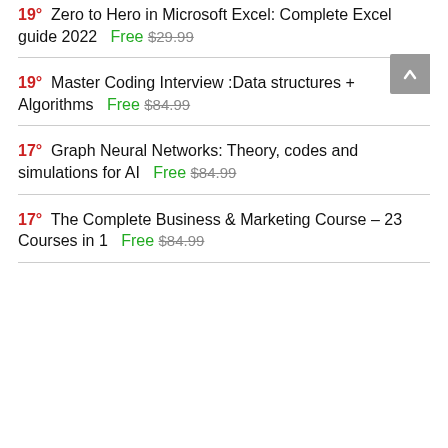19° Zero to Hero in Microsoft Excel: Complete Excel guide 2022   Free $29.99
19° Master Coding Interview :Data structures + Algorithms   Free $84.99
17° Graph Neural Networks: Theory, codes and simulations for AI   Free $84.99
17° The Complete Business & Marketing Course – 23 Courses in 1   Free $84.99